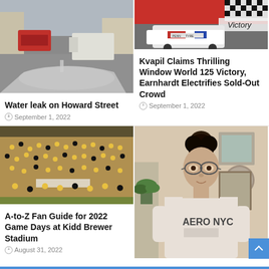[Figure (photo): Street scene with cars parked near buildings, overhead view from vehicle]
Water leak on Howard Street
September 1, 2022
[Figure (photo): Racing event with cars and Victory banner, NASCAR-style scene]
Kvapil Claims Thrilling Window World 125 Victory, Earnhardt Electrifies Sold-Out Crowd
September 1, 2022
[Figure (photo): Packed stadium crowd wearing black and yellow, aerial view of football game day]
A-to-Z Fan Guide for 2022 Game Days at Kidd Brewer Stadium
August 31, 2022
[Figure (photo): Young woman wearing Aero NYC t-shirt standing indoors]